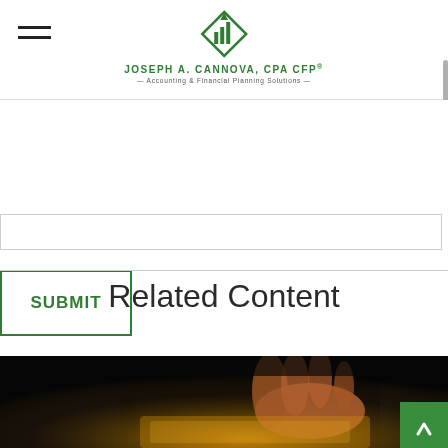Joseph A. Cannova, CPA CFP — Accounting & Financial Planning Solutions
[Figure (screenshot): Website screenshot showing a form with a text input field and a green-bordered SUBMIT button]
Related Content
[Figure (photo): Dark photo of a hand touching a glowing tablet screen, with a green back-to-top arrow button in the bottom right corner]